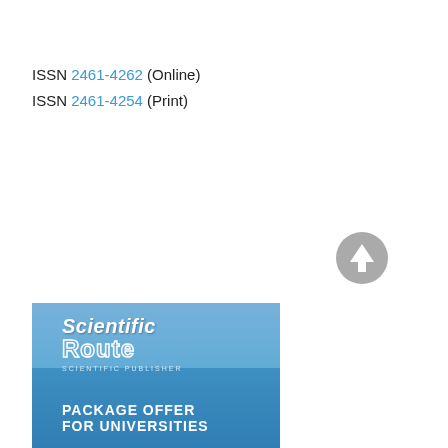ISSN 2461-4262 (Online)
ISSN 2461-4254 (Print)
[Figure (other): Gray circular up-arrow icon button]
Information
For Readers
For Authors
For Librarians
[Figure (illustration): Scientific Route publisher banner with sky background, logo and text 'PACKAGE OFFER FOR UNIVERSITIES']